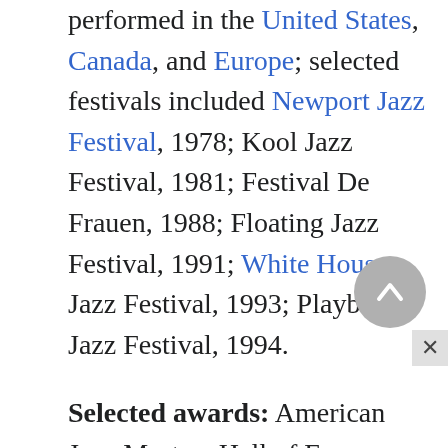performed in the United States, Canada, and Europe; selected festivals included Newport Jazz Festival, 1978; Kool Jazz Festival, 1981; Festival De Frauen, 1988; Floating Jazz Festival, 1991; White House Jazz Festival, 1993; Playboy Jazz Festival, 1994.
Selected awards: American Jazz Masters Hall of Fame, National Endowment for the Arts, 1992.
American performer and first jazz